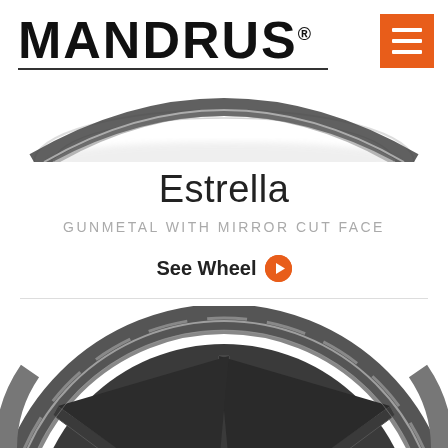MANDRUS
[Figure (photo): Top portion of a dark gunmetal wheel rim with mirror cut face, viewed from above, cropped at top of page]
Estrella
GUNMETAL WITH MIRROR CUT FACE
See Wheel
[Figure (photo): Close-up of a dark gunmetal Mandrus Estrella wheel with mirror cut face, showing spokes and rim detail, bottom half of wheel visible]